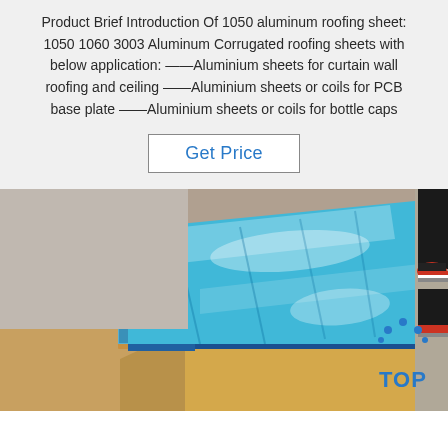Product Brief Introduction Of 1050 aluminum roofing sheet: 1050 1060 3003 Aluminum Corrugated roofing sheets with below application: ——Aluminium sheets for curtain wall roofing and ceiling ——Aluminium sheets or coils for PCB base plate ——Aluminium sheets or coils for bottle caps
Get Price
[Figure (photo): Stack of blue-coated aluminum sheets in wooden packaging, viewed from above at an angle. A person's feet in sneakers are visible in the top right corner.]